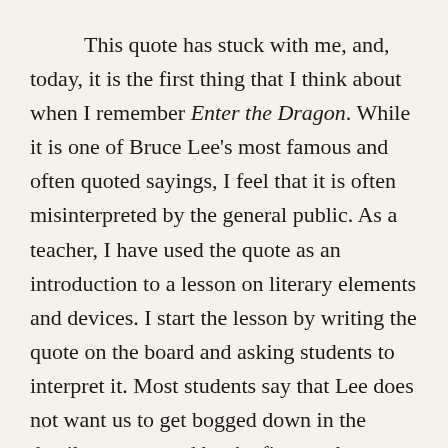This quote has stuck with me, and, today, it is the first thing that I think about when I remember Enter the Dragon. While it is one of Bruce Lee's most famous and often quoted sayings, I feel that it is often misinterpreted by the general public. As a teacher, I have used the quote as an introduction to a lesson on literary elements and devices. I start the lesson by writing the quote on the board and asking students to interpret it. Most students say that Lee does not want us to get bogged down in the details-represented by the finger—but rather, he wants us to see the bigger picture, which is represented by the phrase